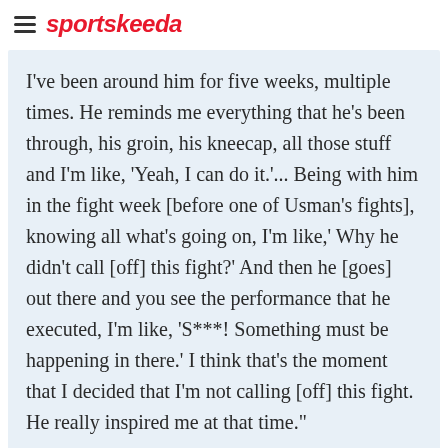sportskeeda
I've been around him for five weeks, multiple times. He reminds me everything that he's been through, his groin, his kneecap, all those stuff and I'm like, 'Yeah, I can do it.'... Being with him in the fight week [before one of Usman's fights], knowing all what's going on, I'm like,' Why he didn't call [off] this fight?' And then he [goes] out there and you see the performance that he executed, I'm like, 'S***! Something must be happening in there.' I think that's the moment that I decided that I'm not calling [off] this fight. He really inspired me at that time."